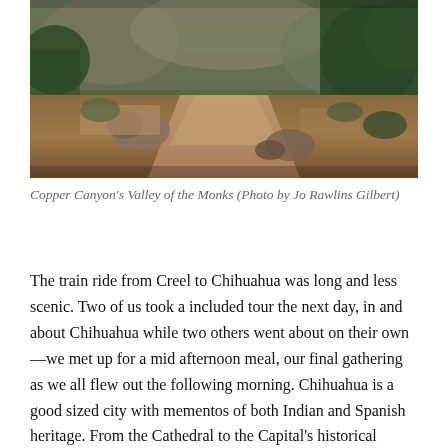[Figure (photo): Landscape photo of Copper Canyon's Valley of the Monks — a rocky, reddish-brown dirt path winding through shrubs and trees with large boulders and green vegetation.]
Copper Canyon's Valley of the Monks (Photo by Jo Rawlins Gilbert)
The train ride from Creel to Chihuahua was long and less scenic. Two of us took a included tour the next day, in and about Chihuahua while two others went about on their own—we met up for a mid afternoon meal, our final gathering as we all flew out the following morning. Chihuahua is a good sized city with mementos of both Indian and Spanish heritage. From the Cathedral to the Capital's historical murals to Pancho Villa 's residence. Our guide took time and energy to make sure we appreciated Chihuahua's past and present.